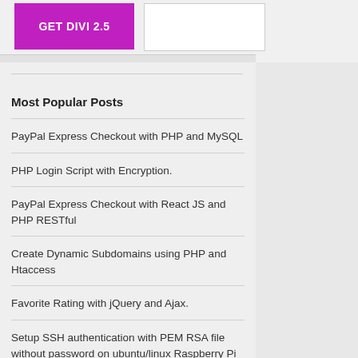[Figure (screenshot): GET DIVI 2.5 banner button (purple/magenta) and adjacent white box]
Most Popular Posts
PayPal Express Checkout with PHP and MySQL
PHP Login Script with Encryption.
PayPal Express Checkout with React JS and PHP RESTful
Create Dynamic Subdomains using PHP and Htaccess
Favorite Rating with jQuery and Ajax.
Setup SSH authentication with PEM RSA file without password on ubuntu/linux Raspberry Pi Server
Table of Contents